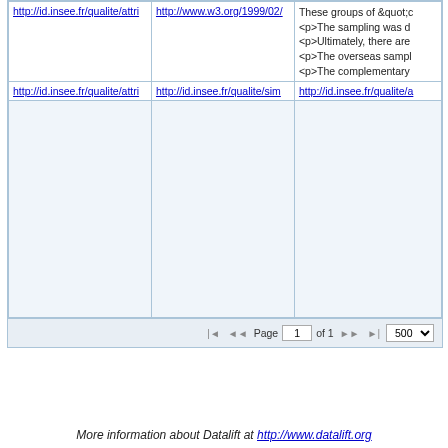| http://id.insee.fr/qualite/attri | http://www.w3.org/1999/02/ | These groups of &quot;c
<p>The sampling was d
<p>Ultimately, there are
<p>The overseas sampl
<p>The complementary |
| http://id.insee.fr/qualite/attri | http://id.insee.fr/qualite/sim | http://id.insee.fr/qualite/a |
|  |  |  |
Page 1 of 1  500
More information about Datalift at http://www.datalift.org